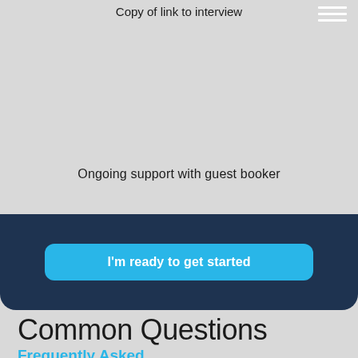Copy of link to interview
Ongoing support with guest booker
I'm ready to get started
Common Questions
Frequently Asked